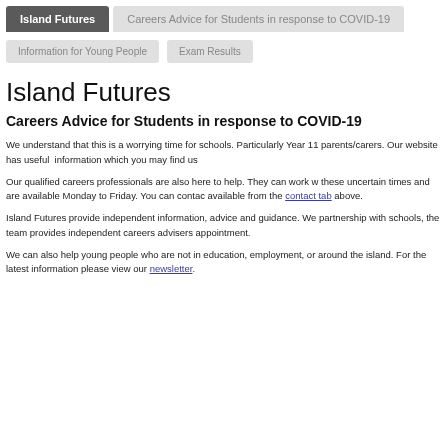Island Futures | Careers Advice for Students in response to COVID-19
Information for Young People | Exam Results
Island Futures
Careers Advice for Students in response to COVID-19
We understand that this is a worrying time for schools. Particularly Year 11 parents/carers. Our website has useful information which you may find us
Our qualified careers professionals are also here to help. They can work with these uncertain times and are available Monday to Friday. You can contact available from the contact tab above.
Island Futures provide independent information, advice and guidance. We partnership with schools, the team provides independent careers advisers appointment.
We can also help young people who are not in education, employment, or around the island. For the latest information please view our newsletter.